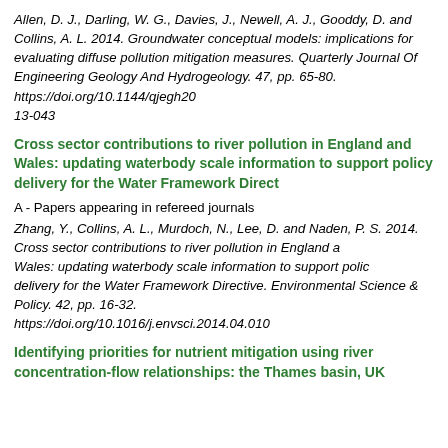Allen, D. J., Darling, W. G., Davies, J., Newell, A. J., Gooddy, D. and Collins, A. L. 2014. Groundwater conceptual models: implications for evaluating diffuse pollution mitigation measures. Quarterly Journal Of Engineering Geology And Hydrogeology. 47, pp. 65-80. https://doi.org/10.1144/qjegh2013-043
Cross sector contributions to river pollution in England and Wales: updating waterbody scale information to support policy delivery for the Water Framework Directive
A - Papers appearing in refereed journals
Zhang, Y., Collins, A. L., Murdoch, N., Lee, D. and Naden, P. S. 2014. Cross sector contributions to river pollution in England and Wales: updating waterbody scale information to support policy delivery for the Water Framework Directive. Environmental Science & Policy. 42, pp. 16-32. https://doi.org/10.1016/j.envsci.2014.04.010
Identifying priorities for nutrient mitigation using river concentration-flow relationships: the Thames basin, UK